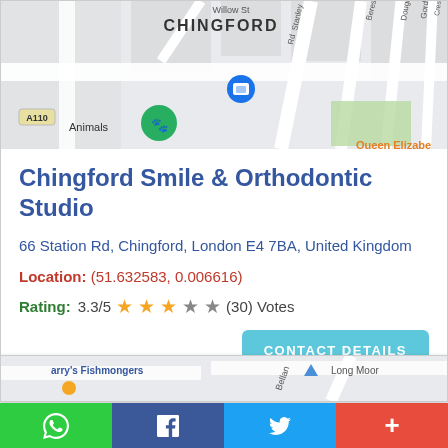[Figure (map): Street map showing Chingford area with roads including Willow St, Stanley Rd, Beresford Rd, Douglas Rd, Gordon Rd, Crescent Rd, A110, and Queen Elizabeth label in orange. Blue location pin and green paw print marker visible.]
Chingford Smile & Orthodontic Studio
66 Station Rd, Chingford, London E4 7BA, United Kingdom
Location: (51.632583, 0.006616)
Rating: 3.3/5 ★★★☆☆ (30) Votes
CONTACT DETAILS
[Figure (map): Partial street map showing area with Harry's Fishmongers label, Long Moor road, Bellan road, and a blue location pin marker.]
Social share buttons: WhatsApp (green), Facebook (blue), Twitter (sky blue), More (red)